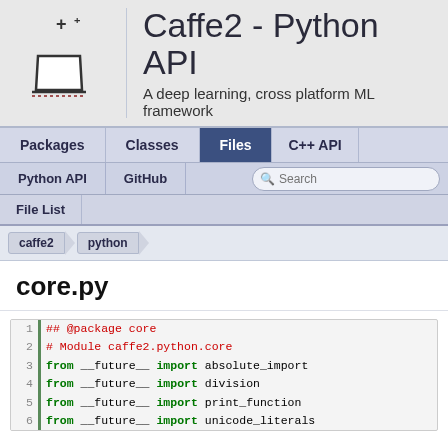Caffe2 - Python API
A deep learning, cross platform ML framework
Packages | Classes | Files | C++ API
Python API | GitHub | Search
File List
caffe2 > python
core.py
1  ## @package core
2  # Module caffe2.python.core
3  from __future__ import absolute_import
4  from __future__ import division
5  from __future__ import print_function
6  from __future__ import unicode_literals